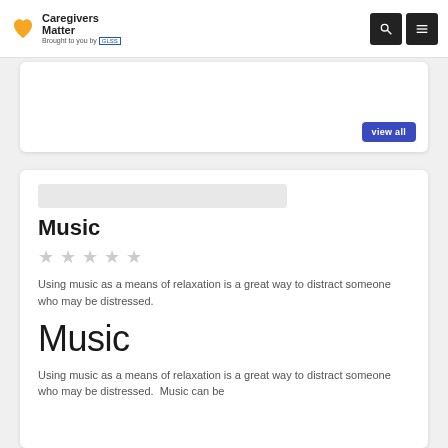Caregivers Matter — Brought to you by GLSS
[Figure (other): Partial card with 'View all' button]
[Figure (screenshot): Article card for 'Music' with image placeholder, star rating, excerpt text, large title, and body text]
Music
Using music as a means of relaxation is a great way to distract someone who may be distressed.
Music
Using music as a means of relaxation is a great way to distract someone who may be distressed.  Music can be